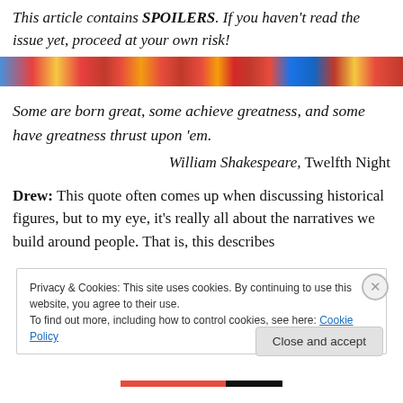This article contains SPOILERS. If you haven't read the issue yet, proceed at your own risk!
[Figure (illustration): Colorful comic book banner image with superhero imagery]
Some are born great, some achieve greatness, and some have greatness thrust upon 'em.
William Shakespeare, Twelfth Night
Drew: This quote often comes up when discussing historical figures, but to my eye, it's really all about the narratives we build around people. That is, this describes
Privacy & Cookies: This site uses cookies. By continuing to use this website, you agree to their use.
To find out more, including how to control cookies, see here: Cookie Policy
Close and accept